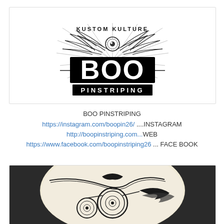[Figure (logo): Kustom Kulture BOO Pinstriping logo — stylized text with wings, eyeball, and ray burst design in black and white]
BOO PINSTRIPING
https://instagram.com/boopin26/ ....INSTAGRAM
http://boopinstriping.com...WEB
https://www.facebook.com/boopinstriping26 ... FACE BOOK
[Figure (photo): A cream/white motorcycle helmet with intricate black pinstriping artwork featuring an owl-like design with circular patterns and flowing lines]